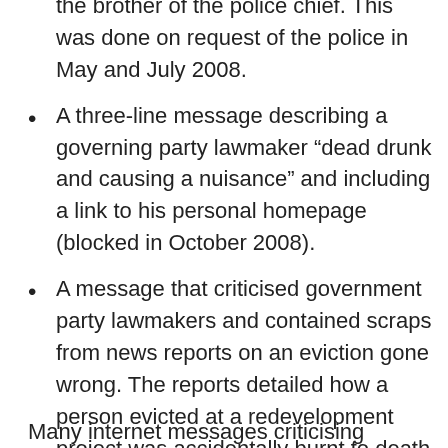the brother of the police chief. This was done on request of the police in May and July 2008.
A three-line message describing a governing party lawmaker “dead drunk and causing a nuisance” and including a link to his personal homepage (blocked in October 2008).
A message that criticised government party lawmakers and contained scraps from news reports on an eviction gone wrong. The reports detailed how a person evicted at a redevelopment project was accidentally burnt to death during a police raid sent to break up a sit-in (blocked in April 2009).
Many internet messages criticising